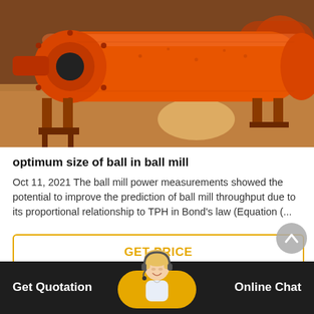[Figure (photo): Large orange ball mill industrial machine in a factory/warehouse setting, lying horizontally on supports, photographed from the side.]
optimum size of ball in ball mill
Oct 11, 2021 The ball mill power measurements showed the potential to improve the prediction of ball mill throughput due to its proportional relationship to TPH in Bond’s law (Equation (...
GET PRICE
Get Quotation    Online Chat